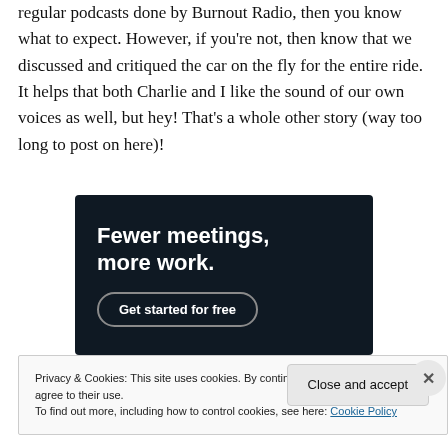regular podcasts done by Burnout Radio, then you know what to expect. However, if you're not, then know that we discussed and critiqued the car on the fly for the entire ride. It helps that both Charlie and I like the sound of our own voices as well, but hey! That's a whole other story (way too long to post on here)!
[Figure (other): Advertisement banner with dark navy background. Bold white text reads 'Fewer meetings, more work.' with a 'Get started for free' button outlined in gray.]
Privacy & Cookies: This site uses cookies. By continuing to use this website, you agree to their use.
To find out more, including how to control cookies, see here: Cookie Policy
Close and accept